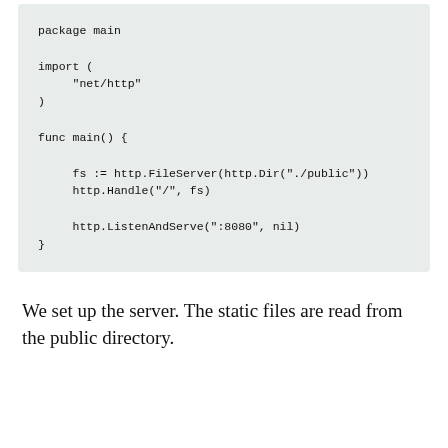[Figure (other): Code block showing Go code: package main, import net/http, func main with FileServer, Handle, and ListenAndServe]
We set up the server. The static files are read from the public directory.